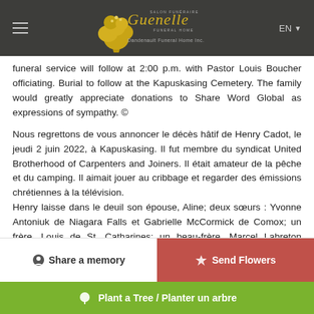Guenelle Funeral Home / Salon Funéraire - Dandenault Funeral Home Inc.
funeral service will follow at 2:00 p.m. with Pastor Louis Boucher officiating. Burial to follow at the Kapuskasing Cemetery. The family would greatly appreciate donations to Share Word Global as expressions of sympathy. ©
Nous regrettons de vous annoncer le décès hâtif de Henry Cadot, le jeudi 2 juin 2022, à Kapuskasing. Il fut membre du syndicat United Brotherhood of Carpenters and Joiners. Il était amateur de la pêche et du camping. Il aimait jouer au cribbage et regarder des émissions chrétiennes à la télévision.
Henry laisse dans le deuil son épouse, Aline; deux sœurs : Yvonne Antoniuk de Niagara Falls et Gabrielle McCormick de Comox; un frère, Louis de St. Catharines; un beau-frère, Marcel Labreton (Doreen) de
Share a memory | Send Flowers | Plant a Tree / Planter un arbre